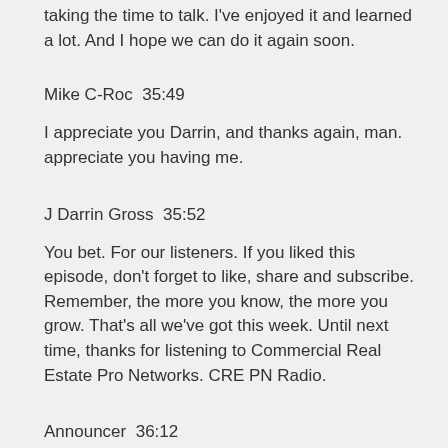taking the time to talk. I've enjoyed it and learned a lot. And I hope we can do it again soon.
Mike C-Roc  35:49
I appreciate you Darrin, and thanks again, man. appreciate you having me.
J Darrin Gross  35:52
You bet. For our listeners. If you liked this episode, don't forget to like, share and subscribe. Remember, the more you know, the more you grow. That's all we've got this week. Until next time, thanks for listening to Commercial Real Estate Pro Networks. CRE PN Radio.
Announcer  36:12